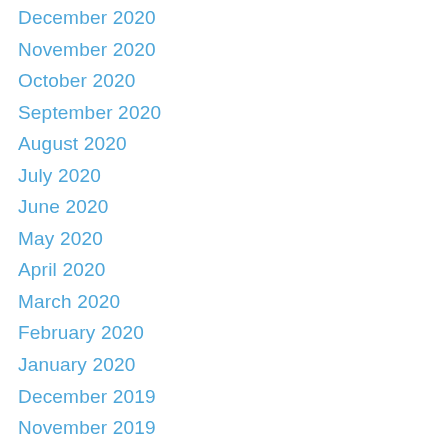December 2020
November 2020
October 2020
September 2020
August 2020
July 2020
June 2020
May 2020
April 2020
March 2020
February 2020
January 2020
December 2019
November 2019
October 2019
July 2019
June 2019
May 2019
April 2019
December 2018